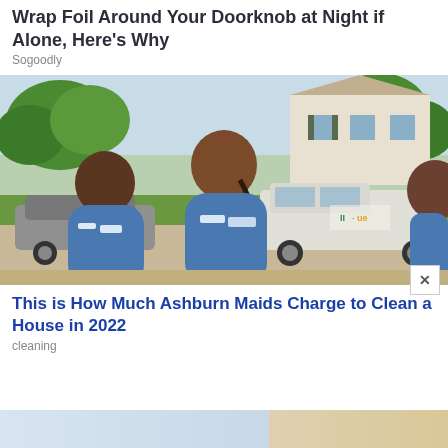Wrap Foil Around Your Doorknob at Night if Alone, Here's Why
Sogoodly
[Figure (photo): Three women in blue uniforms/maids standing outside in front of a house and cars, smiling at the camera]
This is How Much Ashburn Maids Charge to Clean a House in 2022
cleaning